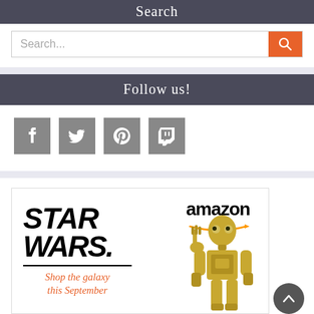Search
[Figure (screenshot): Search input bar with orange search button]
Follow us!
[Figure (infographic): Social media icons: Facebook, Twitter, Pinterest, Twitch]
[Figure (infographic): Star Wars Amazon advertisement banner featuring C-3PO with text 'Shop the galaxy this September']